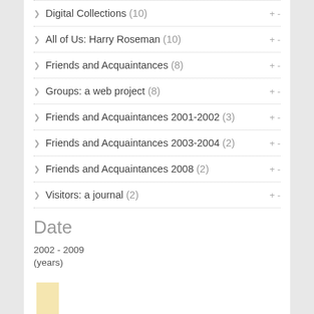Digital Collections (10)
All of Us: Harry Roseman (10)
Friends and Acquaintances (8)
Groups: a web project (8)
Friends and Acquaintances 2001-2002 (3)
Friends and Acquaintances 2003-2004 (2)
Friends and Acquaintances 2008 (2)
Visitors: a journal (2)
Date
2002 - 2009
(years)
[Figure (bar-chart): Date distribution 2002-2009]